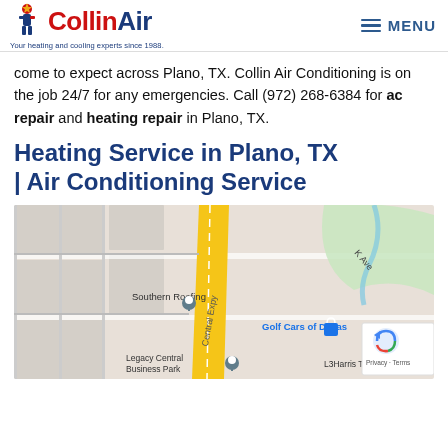CollinAir — Your heating and cooling experts since 1988. MENU
come to expect across Plano, TX. Collin Air Conditioning is on the job 24/7 for any emergencies. Call (972) 268-6384 for ac repair and heating repair in Plano, TX.
Heating Service in Plano, TX | Air Conditioning Service
[Figure (map): Google Maps screenshot showing area around Central Expy in Plano, TX. Visible locations include Southern Roofing, Golf Cars of Dallas, Legacy Central Business Park, L3Harris Technologies, and K Ave. A yellow highway (Central Expy) runs diagonally. A green waterway area is visible on the right. reCAPTCHA Privacy · Terms badge in bottom right corner.]